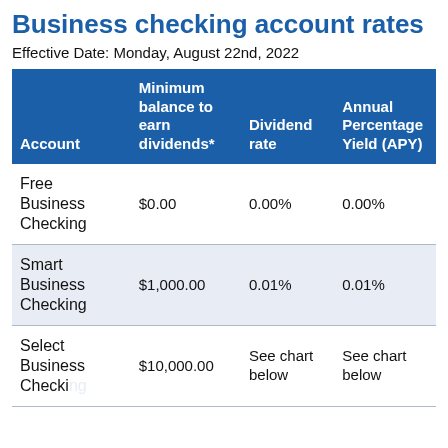Business checking account rates
Effective Date: Monday, August 22nd, 2022
| Account | Minimum balance to earn dividends* | Dividend rate | Annual Percentage Yield (APY) |
| --- | --- | --- | --- |
| Free Business Checking | $0.00 | 0.00% | 0.00% |
| Smart Business Checking | $1,000.00 | 0.01% | 0.01% |
| Select Business Checking | $10,000.00 | See chart below | See chart below |